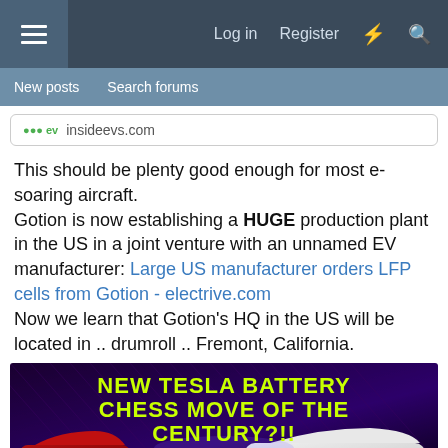Log in  Register
New posts  Search forums
insideevs.com
This should be plenty good enough for most e-soaring aircraft.
Gotion is now establishing a HUGE production plant in the US in a joint venture with an unnamed EV manufacturer: Large US manufacturer orders LFP cells from Gotion - electrive.com
Now we learn that Gotion's HQ in the US will be located in .. drumroll .. Fremont, California.
[Figure (photo): YouTube thumbnail with dark purple/black background and two Tesla cars (red on left, white on right), with bold yellow-green text reading 'NEW TESLA BATTERY CHESS MOVE OF THE CENTURY?!!']
[Figure (photo): Partial view of car image at bottom of page, light gray background with partial car visible]